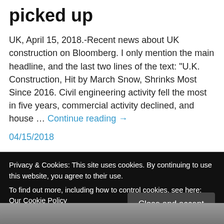picked up
UK, April 15, 2018.-Recent news about UK construction on Bloomberg. I only mention the main headline, and the last two lines of the text: “U.K. Construction, Hit by March Snow, Shrinks Most Since 2016. Civil engineering activity fell the most in five years, commercial activity declined, and house … Continue reading →
04/15/2018
Privacy & Cookies: This site uses cookies. By continuing to use this website, you agree to their use.
To find out more, including how to control cookies, see here: Our Cookie Policy
[Figure (photo): Bottom strip of a black and white photo, partially visible]